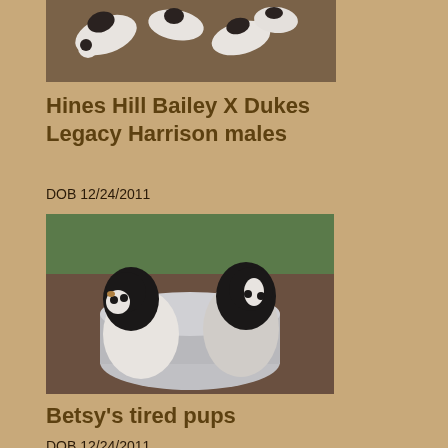[Figure (photo): Photo of several small black and white puppies lying on a brown surface, viewed from above]
Hines Hill Bailey X Dukes Legacy Harrison males
DOB 12/24/2011
[Figure (photo): Photo of two black and white puppies sitting in a silver metal dog bowl on a brown surface, with green grass visible in background]
Betsy's tired pups
DOB 12/24/2011